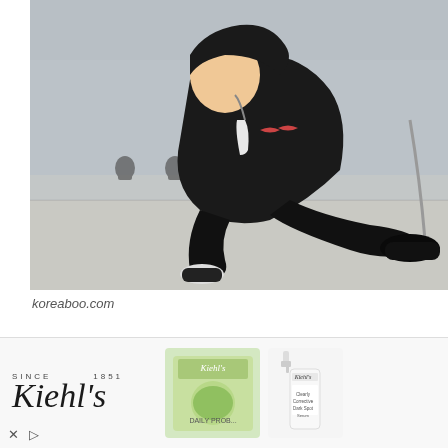[Figure (photo): Person in black jacket and black shoes kneeling/bowing on a tarmac/runway, with other figures visible in the background]
koreaboo.com
The truth tattoo may have relation to Jungkook's friends Mark
Joyeom who also have the same tattoo at the same
[Figure (advertisement): Kiehl's advertisement banner showing the Kiehl's logo, a green facial product box, and a white serum bottle]